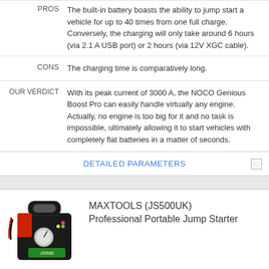PROS   The built-in battery boasts the ability to jump start a vehicle for up to 40 times from one full charge. Conversely, the charging will only take around 6 hours (via 2.1 A USB port) or 2 hours (via 12V XGC cable).
CONS   The charging time is comparatively long.
OUR VERDICT   With its peak current of 3000 A, the NOCO Genious Boost Pro can easily handle virtually any engine. Actually, no engine is too big for it and no task is impossible, ultimately allowing it to start vehicles with completely flat batteries in a matter of seconds.
DETAILED PARAMETERS
[Figure (photo): MAXTOOLS JS500UK Professional Portable Jump Starter product image — black jump starter device with red cables and a gauge]
MAXTOOLS (JS500UK) Professional Portable Jump Starter
Check Price